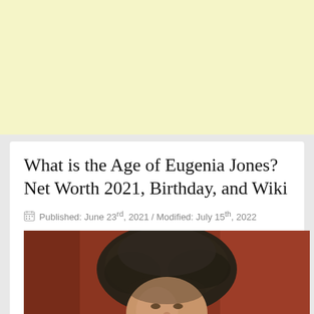[Figure (other): Yellow/cream colored advertisement banner placeholder]
What is the Age of Eugenia Jones? Net Worth 2021, Birthday, and Wiki
Published: June 23rd, 2021 / Modified: July 15th, 2022
[Figure (photo): Photo of Eugenia Jones showing her head and shoulders, with dark hair, against a reddish-brown background]